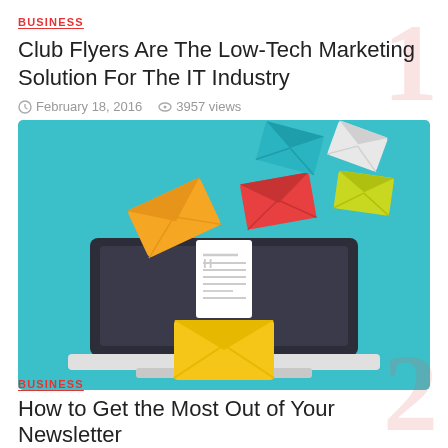BUSINESS
Club Flyers Are The Low-Tech Marketing Solution For The IT Industry
February 18, 2016  3957 views
[Figure (illustration): Email marketing illustration: a laptop with an open envelope and a document/letter emerging from it, surrounded by multiple colorful flying envelopes (teal, white, red, green/yellow, orange) on a teal background]
BUSINESS
How to Get the Most Out of Your Newsletter